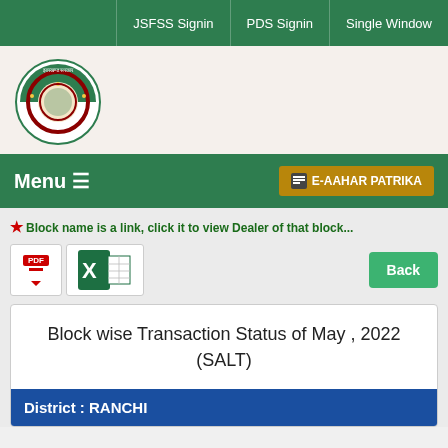JSFSS Signin | PDS Signin | Single Window
[Figure (logo): Jharkhand Government seal/logo — circular emblem with Hindi text]
Menu ≡   E-AAHAR PATRIKA
* Block name is a link, click it to view Dealer of that block...
PDF download icon and Excel download icon and Back button
Block wise Transaction Status of May , 2022 (SALT)
District : RANCHI